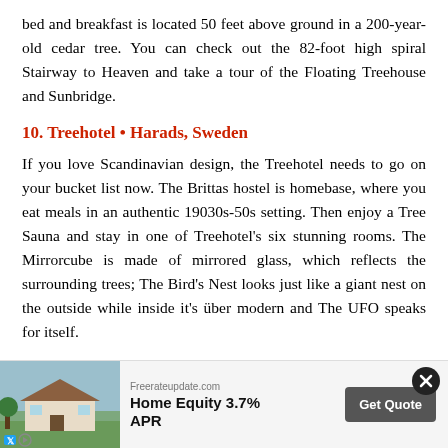bed and breakfast is located 50 feet above ground in a 200-year-old cedar tree. You can check out the 82-foot high spiral Stairway to Heaven and take a tour of the Floating Treehouse and Sunbridge.
10. Treehotel • Harads, Sweden
If you love Scandinavian design, the Treehotel needs to go on your bucket list now. The Brittas hostel is homebase, where you eat meals in an authentic 19030s-50s setting. Then enjoy a Tree Sauna and stay in one of Treehotel's six stunning rooms. The Mirrorcube is made of mirrored glass, which reflects the surrounding trees; The Bird's Nest looks just like a giant nest on the outside while inside it's über modern and The UFO speaks for itself.
BY MAMIVERSE TEAM
TAGS: FAMILY, VACATION
[Figure (other): Advertisement banner for Freerateupdate.com offering Home Equity 3.7% APR with a Get Quote button and a house photo]